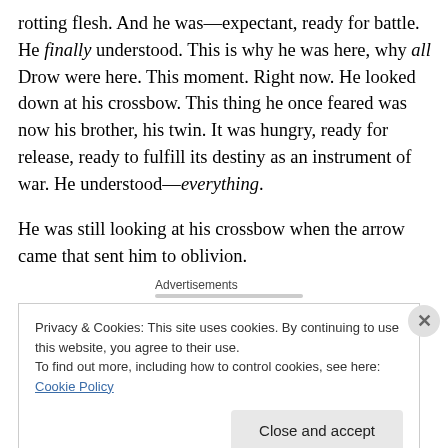rotting flesh. And he was—expectant, ready for battle. He finally understood. This is why he was here, why all Drow were here. This moment. Right now. He looked down at his crossbow. This thing he once feared was now his brother, his twin. It was hungry, ready for release, ready to fulfill its destiny as an instrument of war. He understood—everything.
He was still looking at his crossbow when the arrow came that sent him to oblivion.
Advertisements
Privacy & Cookies: This site uses cookies. By continuing to use this website, you agree to their use.
To find out more, including how to control cookies, see here: Cookie Policy
Close and accept